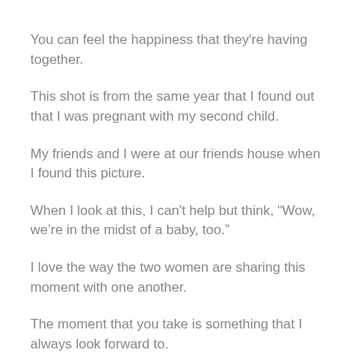You can feel the happiness that they're having together.
This shot is from the same year that I found out that I was pregnant with my second child.
My friends and I were at our friends house when I found this picture.
When I look at this, I can't help but think, “Wow, we're in the midst of a baby, too.”
I love the way the two women are sharing this moment with one another.
The moment that you take is something that I always look forward to.
It captures the warmth and connection that the two of them feel.